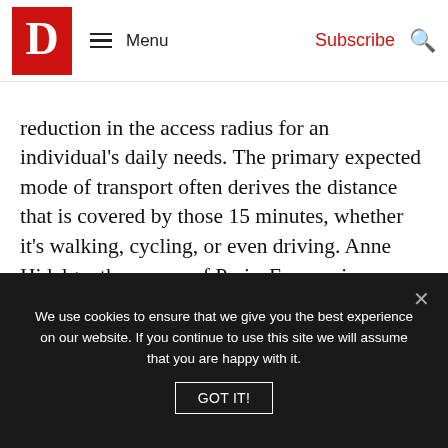D Menu | Subscribe | Search
reduction in the access radius for an individual's daily needs. The primary expected mode of transport often derives the distance that is covered by those 15 minutes, whether it's walking, cycling, or even driving. Anne Hidalgo, the mayor of Paris, France since 2014, recently implemented her own 15-minute city policy, which has received global acclaim. The policy says that residents can have all their needs met within 15 minutes of their doorstep.
We use cookies to ensure that we give you the best experience on our website. If you continue to use this site we will assume that you are happy with it. GOT IT!